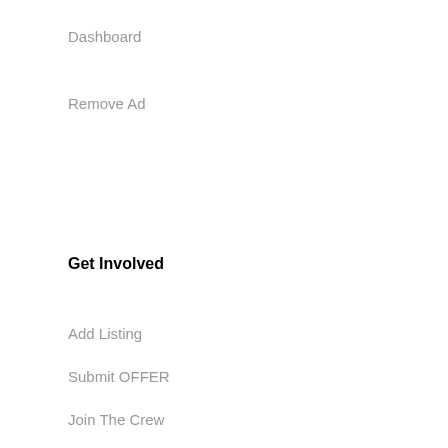Dashboard
Remove Ad
Get Involved
Add Listing
Submit OFFER
Join The Crew
Volunteers Needed
submit your Article
Hellas Club